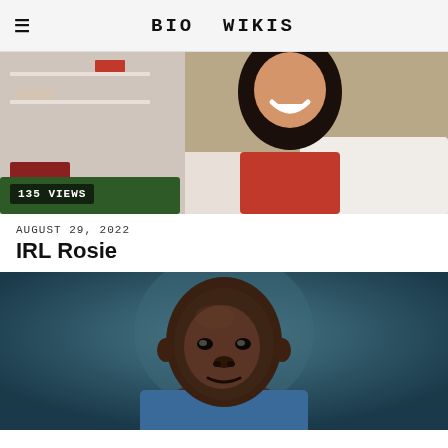BIO WIKIS
[Figure (photo): Woman with long dark hair smiling, sitting in a bedroom, wearing a red top. Shows shelves in background. Badge shows 135 VIEWS.]
AUGUST 29, 2022
IRL Rosie
[Figure (photo): Close-up portrait of a bald Black man in a blue shirt against a teal/blue-grey background.]